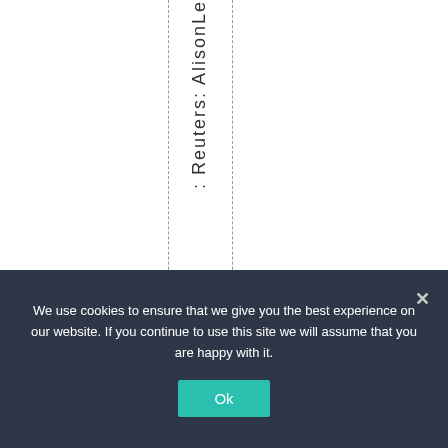: Reuters: Alison Le...
We use cookies to ensure that we give you the best experience on our website. If you continue to use this site we will assume that you are happy with it.